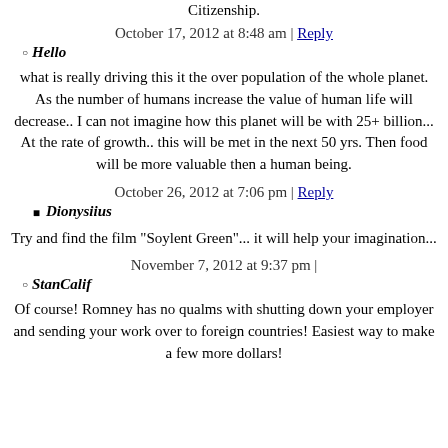Citizenship.
October 17, 2012 at 8:48 am | Reply
Hello
what is really driving this it the over population of the whole planet. As the number of humans increase the value of human life will decrease.. I can not imagine how this planet will be with 25+ billion... At the rate of growth.. this will be met in the next 50 yrs. Then food will be more valuable then a human being.
October 26, 2012 at 7:06 pm | Reply
Dionysiius
Try and find the film "Soylent Green"... it will help your imagination...
November 7, 2012 at 9:37 pm |
StanCalif
Of course! Romney has no qualms with shutting down your employer and sending your work over to foreign countries! Easiest way to make a few more dollars!